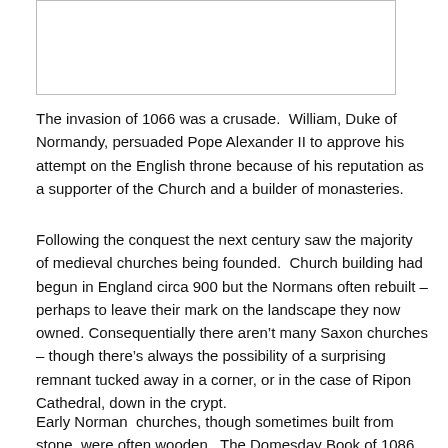[Figure (other): Empty bordered image placeholder box]
The invasion of 1066 was a crusade.  William, Duke of Normandy, persuaded Pope Alexander II to approve his attempt on the English throne because of his reputation as a supporter of the Church and a builder of monasteries.
Following the conquest the next century saw the majority of medieval churches being founded.  Church building had begun in England circa 900 but the Normans often rebuilt – perhaps to leave their mark on the landscape they now owned.  Consequentially there aren’t many Saxon churches – though there’s always the possibility of a surprising remnant tucked away in a corner, or in the case of Ripon Cathedral, down in the crypt.
Early Norman  churches, though sometimes built from stone, were often wooden.  The Domesday Book of 1086 notes some churches but is not a comprehensive audit of churches and